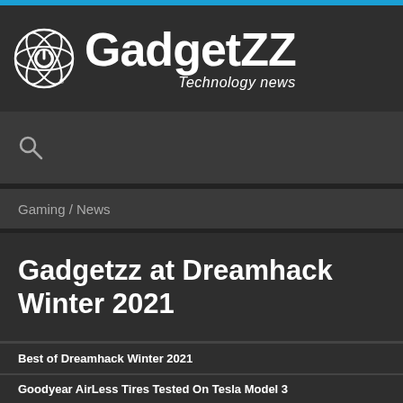[Figure (logo): GadgetZZ logo with atom/power-button icon and text 'GadgetZZ Technology news']
[Figure (other): Search icon (magnifying glass)]
Gaming / News
Gadgetzz at Dreamhack Winter 2021
Best of Dreamhack Winter 2021
Goodyear AirLess Tires Tested On Tesla Model 3